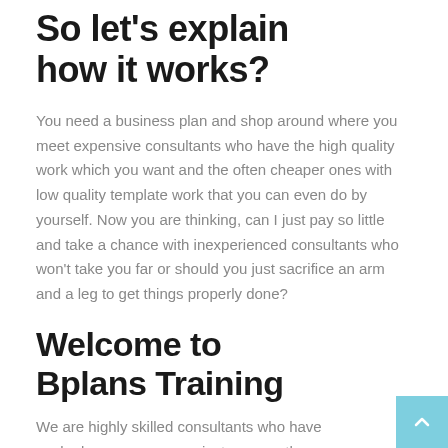So let's explain how it works?
You need a business plan and shop around where you meet expensive consultants who have the high quality work which you want and the often cheaper ones with low quality template work that you can even do by yourself. Now you are thinking, can I just pay so little and take a chance with inexperienced consultants who won't take you far or should you just sacrifice an arm and a leg to get things properly done?
Welcome to Bplans Training
We are highly skilled consultants who have worked on numerous projects across the